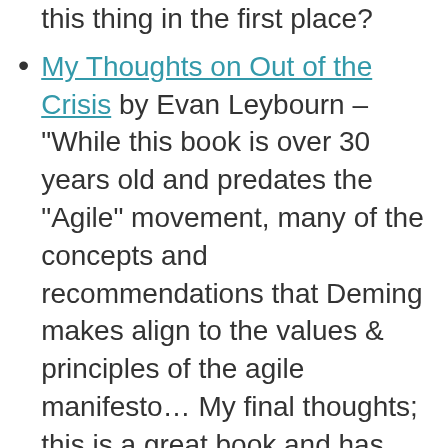this thing in the first place? (truncated top)
My Thoughts on Out of the Crisis by Evan Leybourn – "While this book is over 30 years old and predates the "Agile" movement, many of the concepts and recommendations that Deming makes align to the values & principles of the agile manifesto… My final thoughts; this is a great book and has remained relevant throughout the last 3 decades."
Leadership and Management by John Hunter – "Optimizing systems is most effective when the entire picture is